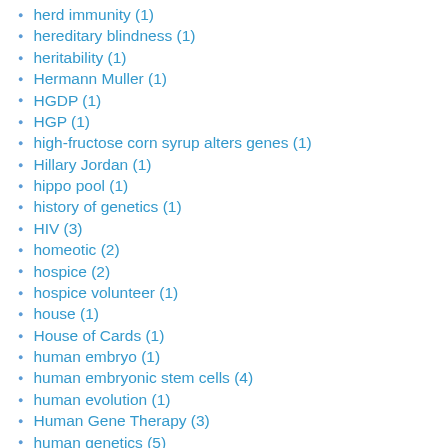herd immunity (1)
hereditary blindness (1)
heritability (1)
Hermann Muller (1)
HGDP (1)
HGP (1)
high-fructose corn syrup alters genes (1)
Hillary Jordan (1)
hippo pool (1)
history of genetics (1)
HIV (3)
homeotic (2)
hospice (2)
hospice volunteer (1)
house (1)
House of Cards (1)
human embryo (1)
human embryonic stem cells (4)
human evolution (1)
Human Gene Therapy (3)
human genetics (5)
Human Genetics: Concepts and Applications (3)
human genome (9)
Human Genome Diversity Project (1)
Human Genome Project (6)
human genome sequence (1)
human growth hormone (1)